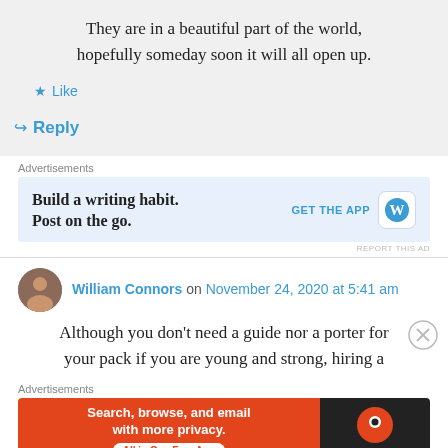They are in a beautiful part of the world, hopefully someday soon it will all open up.
Like
Reply
Advertisements
[Figure (screenshot): WordPress app advertisement: 'Build a writing habit. Post on the go.' with GET THE APP button and WordPress logo]
REPORT THIS AD
William Connors on November 24, 2020 at 5:41 am
Although you don't need a guide nor a porter for your pack if you are young and strong, hiring a
Advertisements
[Figure (screenshot): DuckDuckGo advertisement: 'Search, browse, and email with more privacy. All in One Free App']